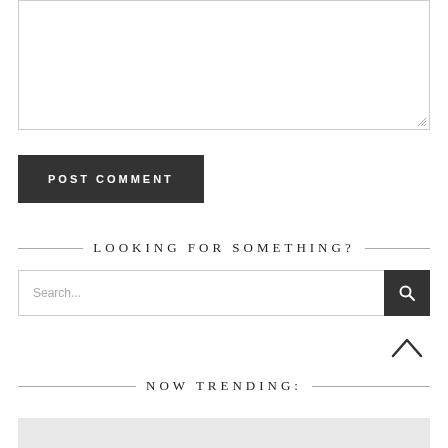[Figure (screenshot): A textarea input box with a resize handle at the bottom right corner]
POST COMMENT
LOOKING FOR SOMETHING?
[Figure (screenshot): A search input field with placeholder text 'Search...' and a dark search button with a magnifying glass icon]
[Figure (other): Back to top chevron arrow pointing upward]
NOW TRENDING:
[Figure (other): A light gray horizontal bar at the bottom of the page]